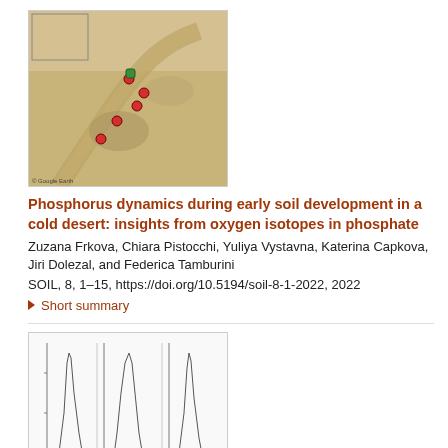[Figure (map): Satellite/map image showing field study site in a desert region with colored markers indicating sampling locations, and a small inset map]
Phosphorus dynamics during early soil development in a cold desert: insights from oxygen isotopes in phosphate
Zuzana Frkova, Chiara Pistocchi, Yuliya Vystavna, Katerina Capkova, Jiri Dolezal, and Federica Tamburini
SOIL, 8, 1–15, https://doi.org/10.5194/soil-8-1-2022, 2022
▶ Short summary
[Figure (continuous-plot): A scientific figure with multiple panel plots showing line graphs, likely chromatogram or spectral data]
Transformation of n-alkanes from plant to soil: a